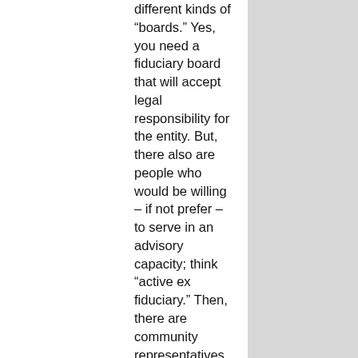different kinds of “boards.” Yes, you need a fiduciary board that will accept legal responsibility for the entity. But, there also are people who would be willing – if not prefer – to serve in an advisory capacity; think “active ex fiduciary.” Then, there are community representatives, a group offering the perspectives and support of your key constituents.)
Now, the third problem: the fundraising job. It’s a laundry list, a set of transactions, right down to the “give – get” dollar signs. I’m much more in favor of giving board members an opportunity to say “How can I help?”  A leadership gift?  Great!  Hosting an event at your home? Wonderful! Tap into your board’s diversity, and what each person can bring to the party, and